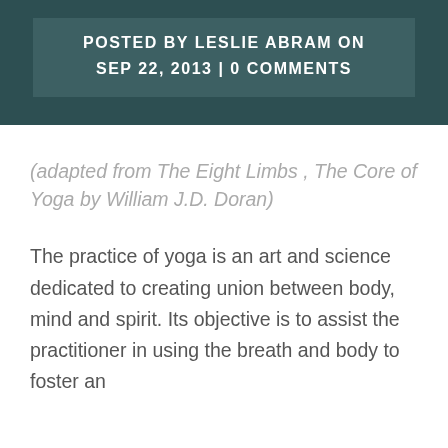POSTED BY LESLIE ABRAM ON SEP 22, 2013 | 0 COMMENTS
(adapted from The Eight Limbs , The Core of Yoga by William J.D. Doran)
The practice of yoga is an art and science dedicated to creating union between body, mind and spirit. Its objective is to assist the practitioner in using the breath and body to foster an awareness of each individual